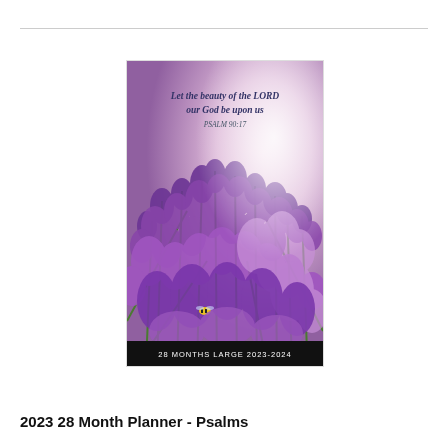[Figure (photo): Cover of a 28-month planner showing purple lavender flowers in bloom with a bee, and italic script text reading 'Let the beauty of the LORD our God be upon us PSALM 90:17'. A dark banner at the bottom reads '28 MONTHS LARGE 2023-2024'.]
2023 28 Month Planner - Psalms